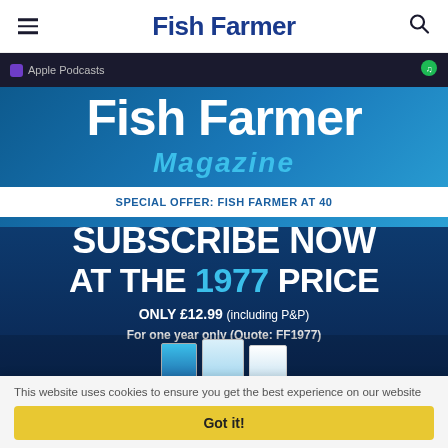Fish Farmer
[Figure (screenshot): Apple Podcasts strip with dark background]
[Figure (infographic): Fish Farmer Magazine advertisement: Special Offer Fish Farmer at 40 - Subscribe Now at the 1977 Price - Only £12.99 (including P&P) - For one year only (Quote: FF1977)]
This website uses cookies to ensure you get the best experience on our website
Got it!